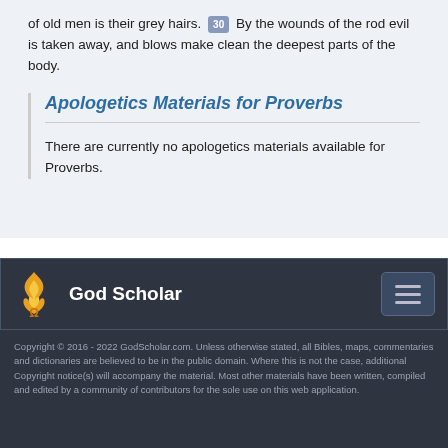of old men is their grey hairs. 30 By the wounds of the rod evil is taken away, and blows make clean the deepest parts of the body.
Apologetics Materials for Proverbs
There are currently no apologetics materials available for Proverbs.
God Scholar
Copyright © 2016 - 2022 GodScholar.com. Unless otherwise stated, all Bibles, maps, commentaries and dictionaries are believed to be in the public domain. Where this is not the case, additional Copyright notice(s) will accompany the material. Most other materials have been written, compiled and edited by a community of contributors for the sole use on this web application.